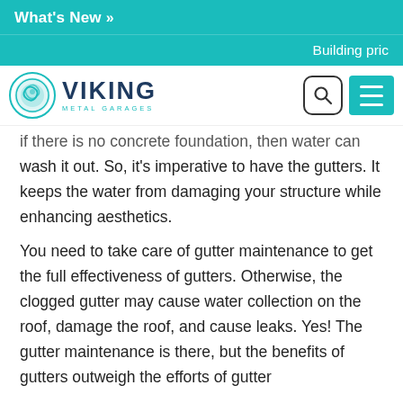What's New »
Building pric
[Figure (logo): Viking Metal Garages logo with teal circular emblem and bold dark blue text]
if there is no concrete foundation, then water can wash it out. So, it's imperative to have the gutters. It keeps the water from damaging your structure while enhancing aesthetics.
You need to take care of gutter maintenance to get the full effectiveness of gutters. Otherwise, the clogged gutter may cause water collection on the roof, damage the roof, and cause leaks. Yes! The gutter maintenance is there, but the benefits of gutters outweigh the efforts of gutter